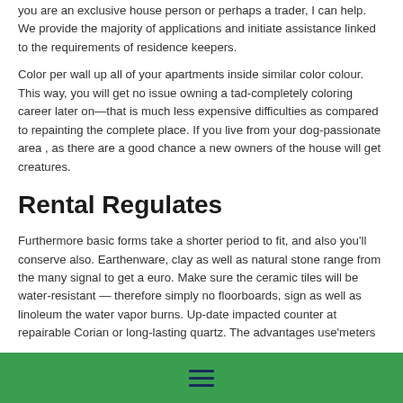you are an exclusive house person or perhaps a trader, I can help. We provide the majority of applications and initiate assistance linked to the requirements of residence keepers.
Color per wall up all of your apartments inside similar color colour. This way, you will get no issue owning a tad-completely coloring career later on—that is much less expensive difficulties as compared to repainting the complete place. If you live from your dog-passionate area , as there are a good chance a new owners of the house will get creatures.
Rental Regulates
Furthermore basic forms take a shorter period to fit, and also you'll conserve also. Earthenware, clay as well as natural stone range from the many signal to get a euro. Make sure the ceramic tiles will be water-resistant — therefore simply no floorboards, sign as well as linoleum the water vapor burns. Up-date impacted counter at repairable Corian or long-lasting quartz. The advantages use'meters